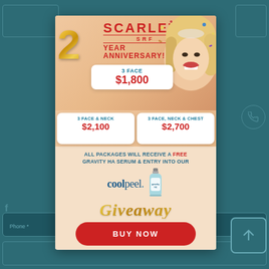[Figure (infographic): Scarlet SRF 2 Year Anniversary promotional popup ad. Features gold balloon '2', Scarlet SRF logo, three treatment package pricing boxes (3 Face $1,800; 3 Face & Neck $2,100; 3 Face, Neck & Chest $2,700), CoolPeel giveaway offer with Gravity HA Serum, and BUY NOW button. Background shows woman smiling with confetti. Dark teal website background visible around popup.]